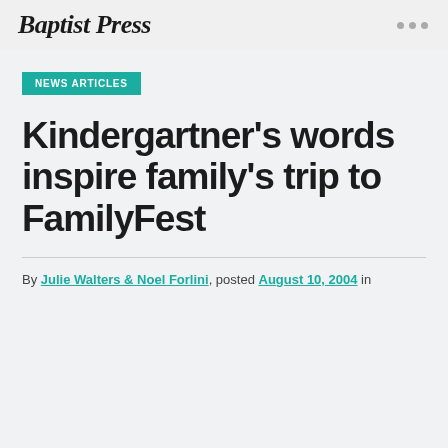Baptist Press
NEWS ARTICLES
Kindergartner's words inspire family's trip to FamilyFest
By Julie Walters & Noel Forlini, posted August 10, 2004 in